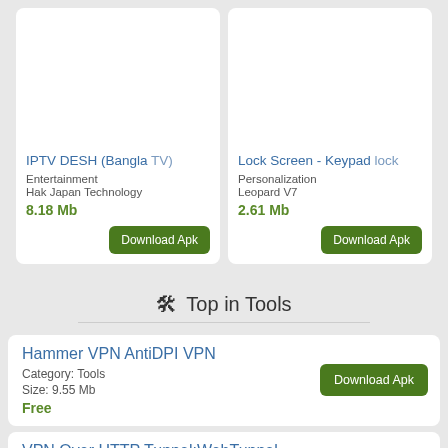[Figure (screenshot): App card for IPTV DESH (Bangla TV) with white image placeholder area]
IPTV DESH (Bangla TV)
Entertainment
Hak Japan Technology
8.18 Mb
[Figure (screenshot): App card for Lock Screen - Keypad lock with white image placeholder area]
Lock Screen - Keypad lock
Personalization
Leopard V7
2.61 Mb
Top in Tools
Hammer VPN AntiDPI VPN
Category: Tools
Size: 9.55 Mb
Free
VPN Over HTTP Tunnel:WebTunnel